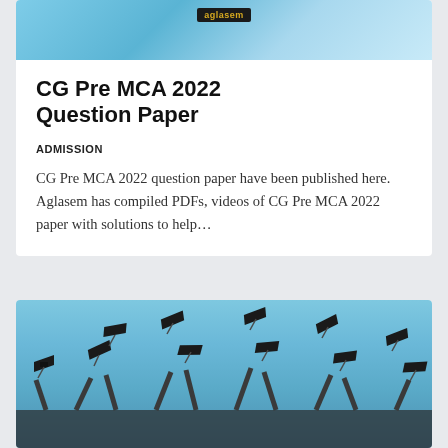[Figure (photo): Aglasem banner/logo on a light blue background with decorative elements]
CG Pre MCA 2022 Question Paper
ADMISSION
CG Pre MCA 2022 question paper have been published here. Aglasem has compiled PDFs, videos of CG Pre MCA 2022 paper with solutions to help…
[Figure (photo): Graduation photo showing graduates throwing their mortarboard caps into the sky]